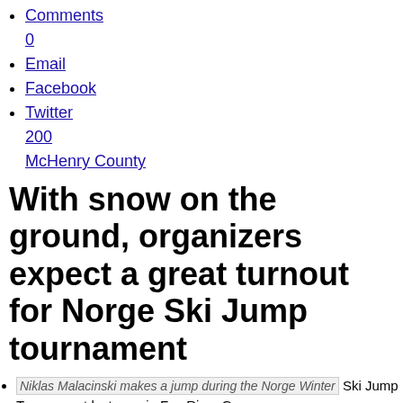Comments 0
Email
Facebook
Twitter 200 McHenry County
With snow on the ground, organizers expect a great turnout for Norge Ski Jump tournament
Niklas Malacinski makes a jump during the Norge Winter Ski Jump Tournament last year in Fox River Grove.
Niklas Malacinski makes a jump during the Norge Winter Ski Jump Tournament last year in Fox River Grove. Daily